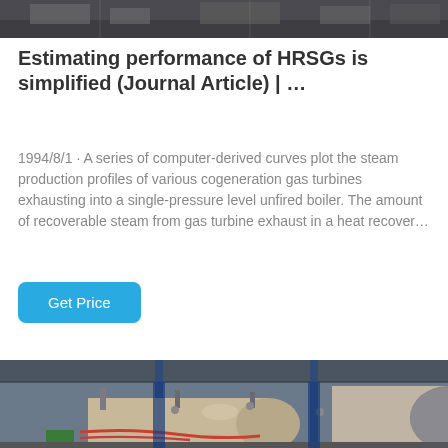[Figure (photo): Industrial machinery/workshop scene viewed from above, partial top strip]
Estimating performance of HRSGs is simplified (Journal Article) | …
1994/8/1 · A series of computer-derived curves plot the steam production profiles of various cogeneration gas turbines exhausting into a single-pressure level unfired boiler. The amount of recoverable steam from gas turbine exhaust in a heat recover…
Get Price
[Figure (photo): Industrial boiler/pressure vessel in a factory or workshop setting with piping, scaffolding and insulated cylindrical tanks]